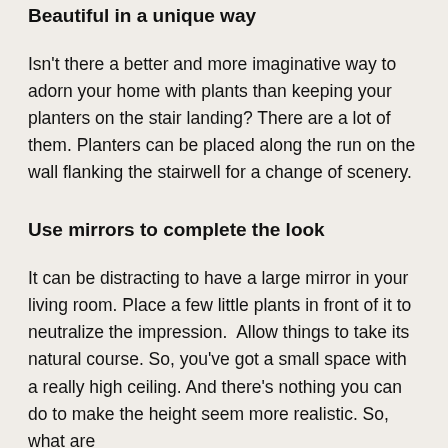Beautiful in a unique way
Isn't there a better and more imaginative way to adorn your home with plants than keeping your planters on the stair landing? There are a lot of them. Planters can be placed along the run on the wall flanking the stairwell for a change of scenery.
Use mirrors to complete the look
It can be distracting to have a large mirror in your living room. Place a few little plants in front of it to neutralize the impression.  Allow things to take its natural course. So, you've got a small space with a really high ceiling. And there's nothing you can do to make the height seem more realistic. So, what are